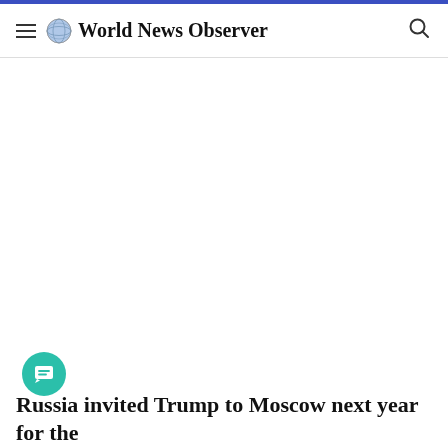World News Observer
[Figure (photo): Large white/blank content area below the header, an article image area that appears empty or white]
Russia invited Trump to Moscow next year for the